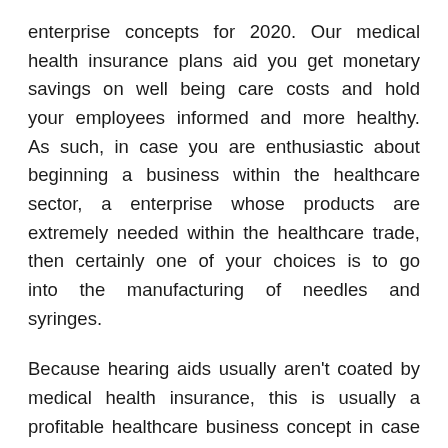enterprise concepts for 2020. Our medical health insurance plans aid you get monetary savings on well being care costs and hold your employees informed and more healthy. As such, in case you are enthusiastic about beginning a business within the healthcare sector, a enterprise whose products are extremely needed within the healthcare trade, then certainly one of your choices is to go into the manufacturing of needles and syringes.
Because hearing aids usually aren't coated by medical health insurance, this is usually a profitable healthcare business concept in case you discover the best customer base. Simply possessing management expertise is not enough, as almost any healthcare